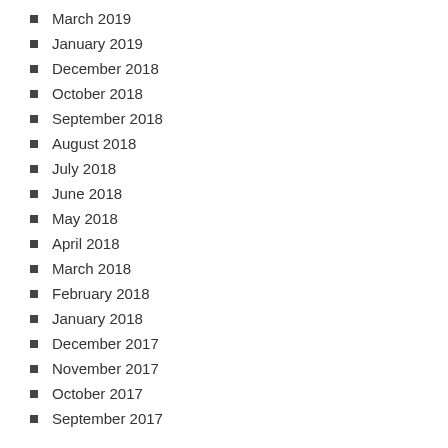March 2019
January 2019
December 2018
October 2018
September 2018
August 2018
July 2018
June 2018
May 2018
April 2018
March 2018
February 2018
January 2018
December 2017
November 2017
October 2017
September 2017